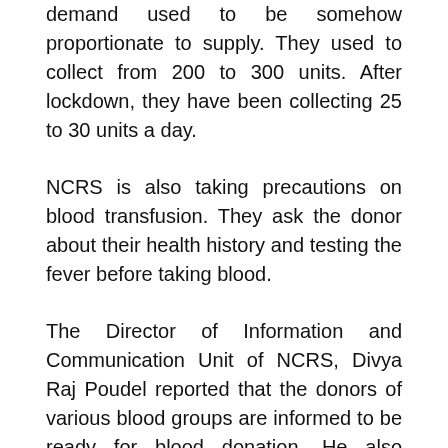demand used to be somehow proportionate to supply. They used to collect from 200 to 300 units. After lockdown, they have been collecting 25 to 30 units a day.
NCRS is also taking precautions on blood transfusion. They ask the donor about their health history and testing the fever before taking blood.
The Director of Information and Communication Unit of NCRS, Divya Raj Poudel reported that the donors of various blood groups are informed to be ready for blood donation. He also informed us about the list of 25000 regular donors.